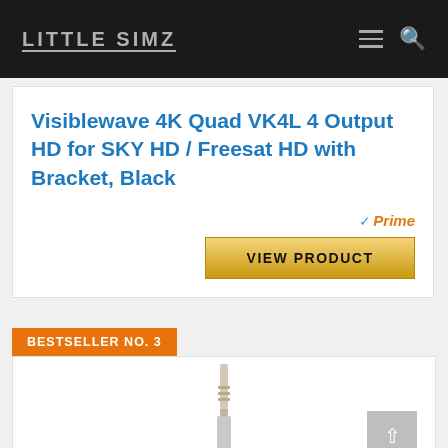LITTLE SIMZ
Visiblewave 4K Quad VK4L 4 Output HD for SKY HD / Freesat HD with Bracket, Black
Prime
VIEW PRODUCT
BESTSELLER NO. 3
[Figure (photo): An antenna/satellite product photo, partial view showing the top portion of a slim antenna device]